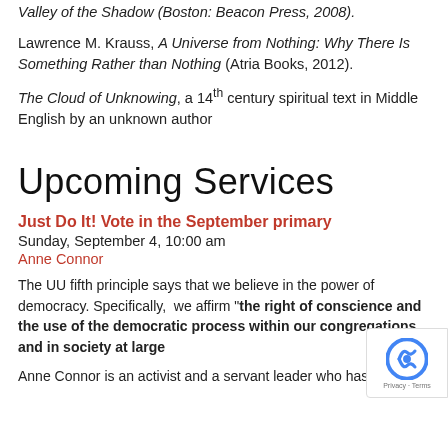Valley of the Shadow (Boston: Beacon Press, 2008).
Lawrence M. Krauss, A Universe from Nothing: Why There Is Something Rather than Nothing (Atria Books, 2012).
The Cloud of Unknowing, a 14th century spiritual text in Middle English by an unknown author
Upcoming Services
Just Do It! Vote in the September primary
Sunday, September 4, 10:00 am
Anne Connor
The UU fifth principle says that we believe in the power of democracy. Specifically, we affirm "the right of conscience and the use of the democratic process within our congregations and in society at large
Anne Connor is an activist and a servant leader who has